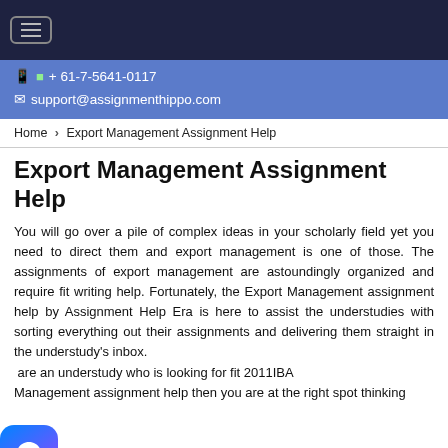≡ (hamburger menu button)
📱 🟢 + 61-7-5641-0117
✉ support@assignmenthippo.com
Home › Export Management Assignment Help
Export Management Assignment Help
You will go over a pile of complex ideas in your scholarly field yet you need to direct them and export management is one of those. The assignments of export management are astoundingly organized and require fit writing help. Fortunately, the Export Management assignment help by Assignment Help Era is here to assist the understudies with sorting everything out their assignments and delivering them straight in the understudy's inbox. are an understudy who is looking for fit 2011IBA Management assignment help then you are at the right spot thinking